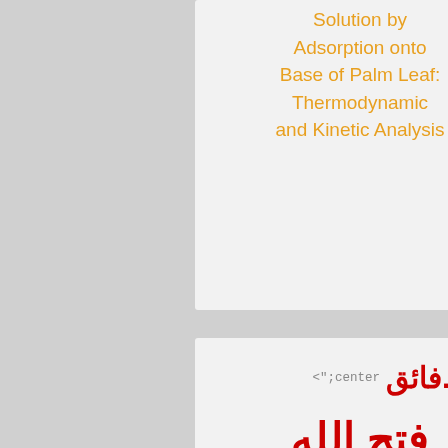Solution by Adsorption onto Base of Palm Leaf: Thermodynamic and Kinetic Analysis
أ.م.د.فائق <";center
فتح الله
كرم
466px;"
<"width="791